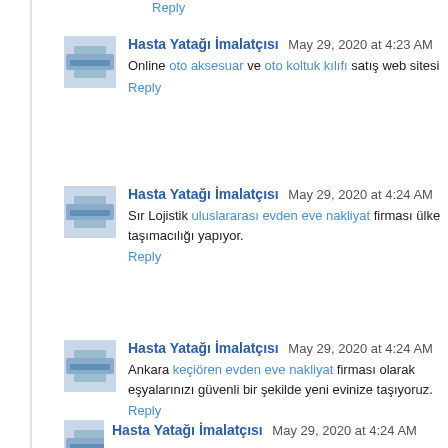Reply
Hasta Yatağı İmalatçısı  May 29, 2020 at 4:23 AM
Online oto aksesuar ve oto koltuk kılıfı satış web sitesi
Reply
Hasta Yatağı İmalatçısı  May 29, 2020 at 4:24 AM
Sır Lojistik uluslararası evden eve nakliyat firması ülke taşımacılığı yapıyor.
Reply
Hasta Yatağı İmalatçısı  May 29, 2020 at 4:24 AM
Ankara keçiören evden eve nakliyat firması olarak eşyalarınızı güvenli bir şekilde yeni evinize taşıyoruz.
Reply
Hasta Yatağı İmalatçısı  May 29, 2020 at 4:24 AM